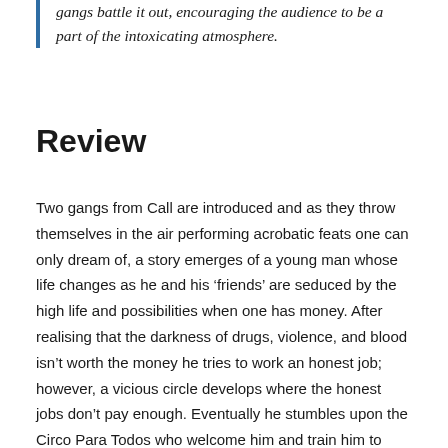gangs battle it out, encouraging the audience to be a part of the intoxicating atmosphere.
Review
Two gangs from Call are introduced and as they throw themselves in the air performing acrobatic feats one can only dream of, a story emerges of a young man whose life changes as he and his ‘friends’ are seduced by the high life and possibilities when one has money. After realising that the darkness of drugs, violence, and blood isn’t worth the money he tries to work an honest job; however, a vicious circle develops where the honest jobs don’t pay enough. Eventually he stumbles upon the Circo Para Todos who welcome him and train him to become an illustrious acrobat, thus finding his place in the world with real friends and family enriching his life in way he hadn’t experienced before.
This heart-warming tale was performed to near perfection—the troupe